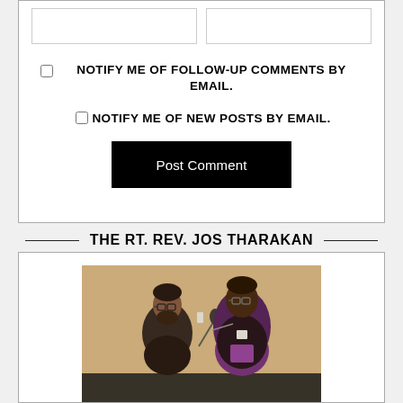[Figure (other): Two input boxes side by side (form fields)]
NOTIFY ME OF FOLLOW-UP COMMENTS BY EMAIL.
NOTIFY ME OF NEW POSTS BY EMAIL.
Post Comment
THE RT. REV. JOS THARAKAN
[Figure (photo): Two men in clerical attire, one speaking at a microphone in an indoor church setting]